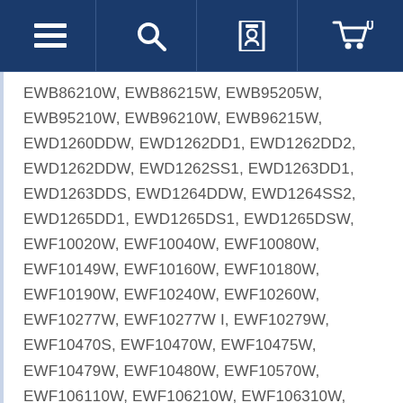Navigation bar with menu, search, account, and cart icons
EWB86210W, EWB86215W, EWB95205W, EWB95210W, EWB96210W, EWB96215W, EWD1260DDW, EWD1262DD1, EWD1262DD2, EWD1262DDW, EWD1262SS1, EWD1263DD1, EWD1263DDS, EWD1264DDW, EWD1264SS2, EWD1265DD1, EWD1265DS1, EWD1265DSW, EWF10020W, EWF10040W, EWF10080W, EWF10149W, EWF10160W, EWF10180W, EWF10190W, EWF10240W, EWF10260W, EWF10277W, EWF10277W I, EWF10279W, EWF10470S, EWF10470W, EWF10475W, EWF10479W, EWF10480W, EWF10570W, EWF106110W, EWF106210W, EWF106310W, EWF106410W, EWF106417W, EWF106510, EWF106510W, EWF106517W, EWF10670W, EWF10679W, EWF107110W, EWF107410W, EWF1076GDW, EWF108210W, EWF108211W, EWF108310W, EWF12040W,